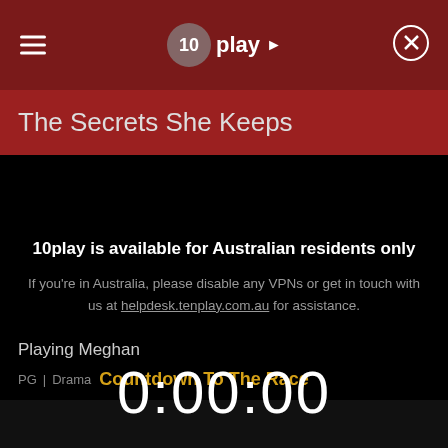10play
The Secrets She Keeps
[Figure (screenshot): 10play streaming service geo-restriction error screen on black background]
10play is available for Australian residents only
If you're in Australia, please disable any VPNs or get in touch with us at helpdesk.tenplay.com.au for assistance.
0:00:00
Playing Meghan
PG | Drama  Countdown To The Race